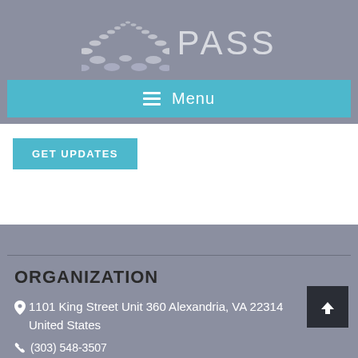[Figure (logo): PASS organization logo with dotted path graphic and PASS text in light gray]
Menu
GET UPDATES
ORGANIZATION
1101 King Street Unit 360 Alexandria, VA 22314 United States
(partial phone number visible at bottom)